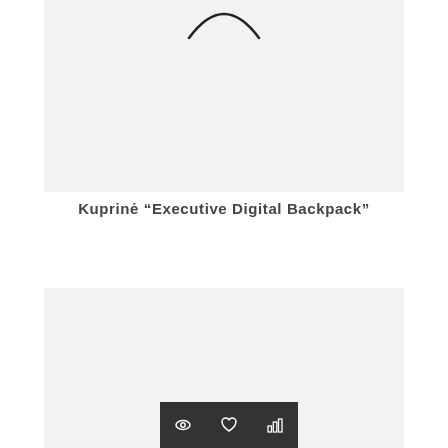[Figure (photo): Product image area showing top portion of a backpack on a light grey background, partially cropped — only the curved top/handle arc is visible.]
Kuprinė "Executive Digital Backpack"
[Figure (photo): Product image area showing another view or second product on a light grey background — content not fully visible.]
[Figure (infographic): Three dark square icon buttons: an eye/view icon, a heart/wishlist icon, and a bar chart/statistics icon.]